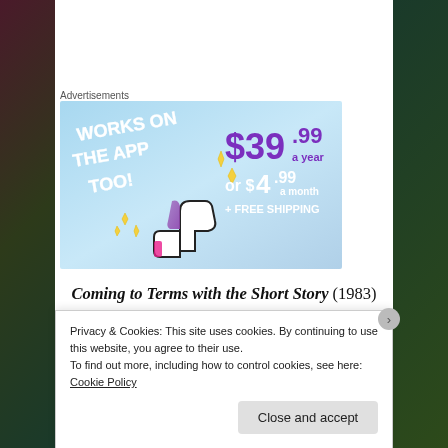Advertisements
[Figure (infographic): Advertisement banner with blue background showing 'WORKS ON THE APP TOO!' text in white on left side, thumbs up icon with sparkles, and pricing: $39.99 a year or $4.99 a month + FREE SHIPPING on the right in purple/white text]
Coming to Terms with the Short Story (1983) by Susan Lohafer: “Size of action, not kind of action; choice of manner, not choice of intention. These are what make the diff..."
Privacy & Cookies: This site uses cookies. By continuing to use this website, you agree to their use.
To find out more, including how to control cookies, see here: Cookie Policy
Close and accept